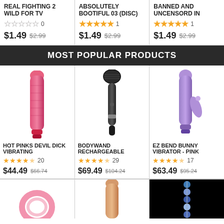REAL FIGHTING 2 WILD FOR TV
0 stars, 0 reviews, $1.49, was $2.99
ABSOLUTELY BOOTIFUL 03 (DISC)
5 stars, 1 review, $1.49, was $2.99
BANNED AND UNCENSORD IN
5 stars, 1 review, $1.49, was $2.99
MOST POPULAR PRODUCTS
[Figure (photo): Pink vibrator product image]
HOT PINKS DEVIL DICK VIBRATING
4.5 stars, 20 reviews, $44.49, was $66.74
[Figure (photo): Black bodywand rechargeable massager product image]
BODYWAND RECHARGEABLE
4.5 stars, 29 reviews, $69.49, was $104.24
[Figure (photo): Purple EZ bend bunny vibrator product image]
EZ BEND BUNNY VIBRATOR - PINK
4.5 stars, 17 reviews, $63.49, was $95.24
[Figure (photo): Pink cock ring product image (partial)]
[Figure (photo): Flesh tone dildo product image (partial)]
[Figure (photo): Blue/clear beaded toy on black background (partial)]